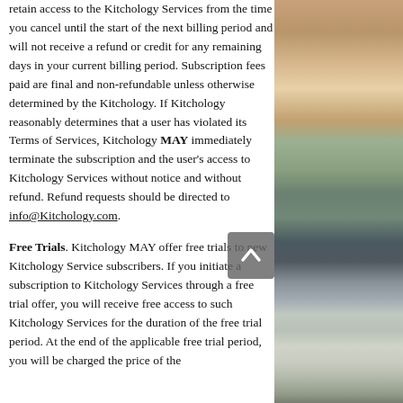retain access to the Kitchology Services from the time you cancel until the start of the next billing period and will not receive a refund or credit for any remaining days in your current billing period. Subscription fees paid are final and non-refundable unless otherwise determined by the Kitchology. If Kitchology reasonably determines that a user has violated its Terms of Services, Kitchology MAY immediately terminate the subscription and the user's access to Kitchology Services without notice and without refund. Refund requests should be directed to info@Kitchology.com.
Free Trials. Kitchology MAY offer free trials to new Kitchology Service subscribers. If you initiate a subscription to Kitchology Services through a free trial offer, you will receive free access to such Kitchology Services for the duration of the free trial period. At the end of the applicable free trial period, you will be charged the price of the
[Figure (photo): Photo of glass jars with spices/herbs on shelves, partial view on right side of page]